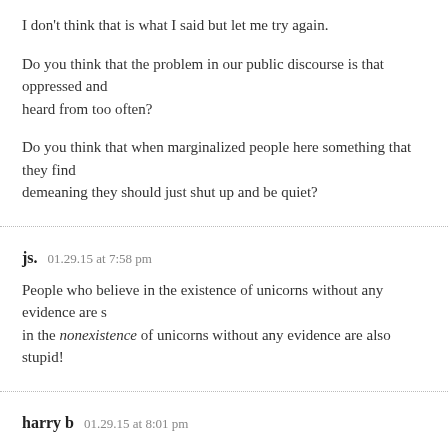I don't think that is what I said but let me try again.
Do you think that the problem in our public discourse is that oppressed and heard from too often?
Do you think that when marginalized people here something that they find demeaning they should just shut up and be quiet?
js.  01.29.15 at 7:58 pm
People who believe in the existence of unicorns without any evidence are s in the nonexistence of unicorns without any evidence are also stupid!
harry b  01.29.15 at 8:01 pm
MPAV — pretty much no regular readers need to go back and check, becau you often enough that they know they can trust you. Keep it up!